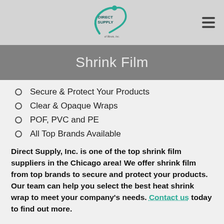[Figure (logo): Direct Supply logo with circular swoosh graphic and company name text]
Shrink Film
Secure & Protect Your Products
Clear & Opaque Wraps
POF, PVC and PE
All Top Brands Available
Direct Supply, Inc. is one of the top shrink film suppliers in the Chicago area! We offer shrink film from top brands to secure and protect your products. Our team can help you select the best heat shrink wrap to meet your company's needs. Contact us today to find out more.